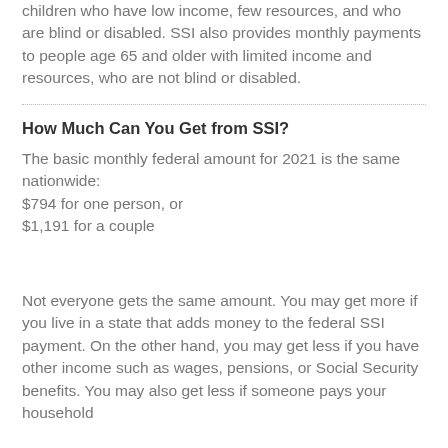children who have low income, few resources, and who are blind or disabled. SSI also provides monthly payments to people age 65 and older with limited income and resources, who are not blind or disabled.
How Much Can You Get from SSI?
The basic monthly federal amount for 2021 is the same nationwide:
$794 for one person, or
$1,191 for a couple
Not everyone gets the same amount. You may get more if you live in a state that adds money to the federal SSI payment. On the other hand, you may get less if you have other income such as wages, pensions, or Social Security benefits. You may also get less if someone pays your household